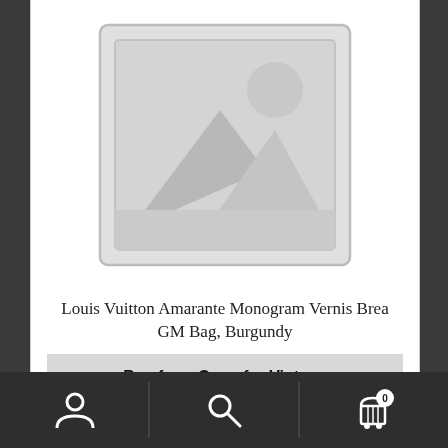[Figure (illustration): Placeholder image icon showing a landscape silhouette with a sun/circle, inside a rounded rectangle frame, on a light gray background]
Louis Vuitton Amarante Monogram Vernis Brea GM Bag, Burgundy
Buy from Open for Vintage
[Figure (infographic): Bottom navigation bar with three icons: user/person icon, search/magnifying glass icon, and shopping cart icon with badge showing 0]